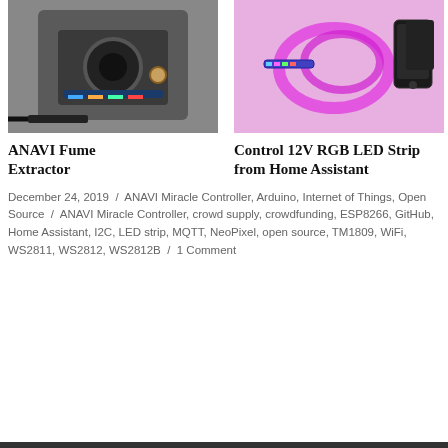[Figure (photo): Photo of ANAVI Fume Extractor device - electronic circuit board with fan]
[Figure (photo): Photo of glowing pink/magenta LED strip coiled on a surface next to a smartphone]
ANAVI Fume Extractor
Control 12V RGB LED Strip from Home Assistant
December 24, 2019 / ANAVI Miracle Controller, Arduino, Internet of Things, Open Source / ANAVI Miracle Controller, crowd supply, crowdfunding, ESP8266, GitHub, Home Assistant, I2C, LED strip, MQTT, NeoPixel, open source, TM1809, WiFi, WS2811, WS2812, WS2812B / 1 Comment